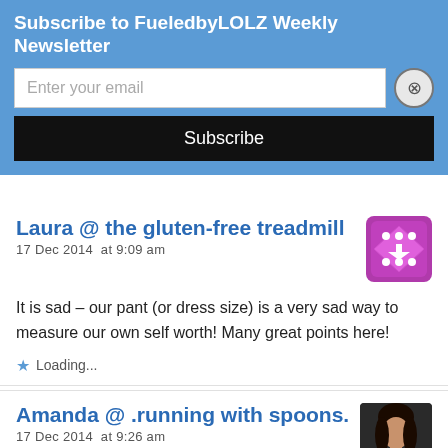Subscribe to FueledbyLOLZ Weekly Newsletter
Enter your email
Subscribe
Laura @ the gluten-free treadmill
17 Dec 2014 at 9:09 am
It is sad – our pant (or dress size) is a very sad way to measure our own self worth! Many great points here!
Loading...
Amanda @ .running with spoons.
17 Dec 2014 at 9:26 am
You mean to tell me that you -don't- classify your friends by their jean size? 😆 Society's fixation with weight and numbers really is sad, but I think the bridal dress waiver is